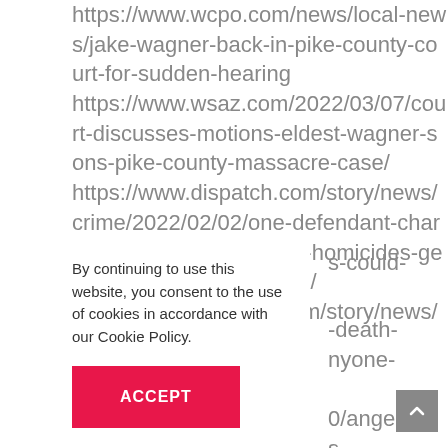https://www.wcpo.com/news/local-news/jake-wagner-back-in-pike-county-court-for-sudden-hearing https://www.wsaz.com/2022/03/07/court-discusses-motions-eldest-wagner-sons-pike-county-massacre-case/ https://www.dispatch.com/story/news/crime/2022/02/02/one-defendant-charged-pike-county-rhoden-homicides-gets-trial-date/9316511002/ https://www.dispatch.com/story/news/2020/04/21/p
s-could- -death- nyone- 0/angela- s
By continuing to use this website, you consent to the use of cookies in accordance with our Cookie Policy.
ACCEPT